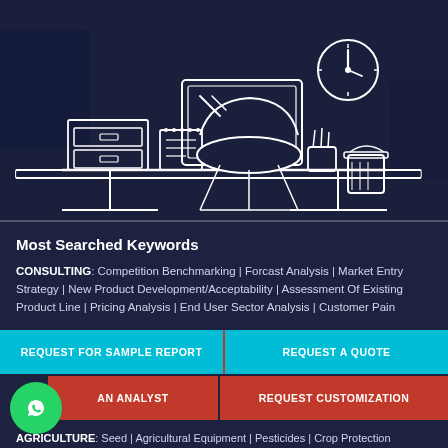[Figure (illustration): Line art illustration of a home office desk setup on dark navy background. Shows a desktop computer monitor with glare lines, an office chair, filing cabinet with two drawers, a notebook/planner, pencil holder with pens, a wall clock, and a trash bin. All drawn in white outlines on dark navy.]
Most Searched Keywords
CONSULTING: Competition Benchmarking | Forcast Analysis | Market Entry Strategy | New Product Development/Acceptability | Assessment Of Existing Product Line | Pricing Analysis | End User Sector Analysis | Customer Pain
REQUEST FOR SAMPLE REPORT
REQUEST A QUOTE
on Survey
keting Survey |
search
AN ANALYST
REQUEST CUSTOMIZATION
AGRICULTURE: Seed | Agricultural Equipment | Pesticides | Crop Protection